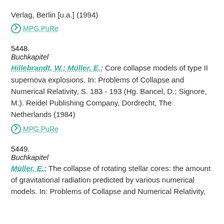Verlag, Berlin [u.a.] (1994)
MPG.PuRe
5448.
Buchkapitel
Hillebrandt, W.; Müller, E.: Core collapse models of type II supernova explosions. In: Problems of Collapse and Numerical Relativity, S. 183 - 193 (Hg. Bancel, D.; Signore, M.). Reidel Publishing Company, Dordrecht, The Netherlands (1984)
MPG.PuRe
5449.
Buchkapitel
Müller, E.: The collapse of rotating stellar cores: the amount of gravitational radiation predicted by various numerical models. In: Problems of Collapse and Numerical Relativity,